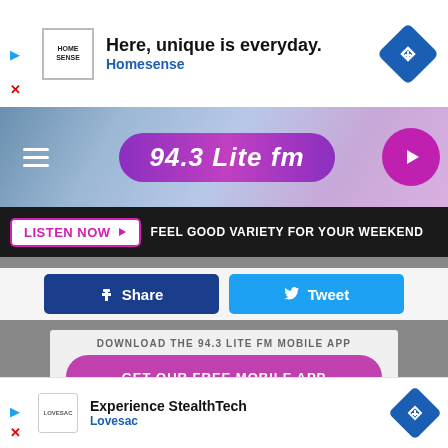[Figure (screenshot): Top advertisement banner: Home Sense ad with text 'Here, unique is everyday.' and brand name 'Homesense', blue diamond navigation icon]
[Figure (screenshot): 94.3 Lite FM radio station header with hamburger menu, logo, and purple play button]
FEEL GOOD VARIETY FOR YOUR WEEKEND
LISTEN NOW
Share
Tweet
DOWNLOAD THE 94.3 LITE FM MOBILE APP
GET OUR FREE MOBILE APP
[Figure (photo): Close-up photo of pretzels with salt on top]
[Figure (screenshot): Bottom advertisement: Experience StealthTech by Lovesac, with blue diamond navigation icon]